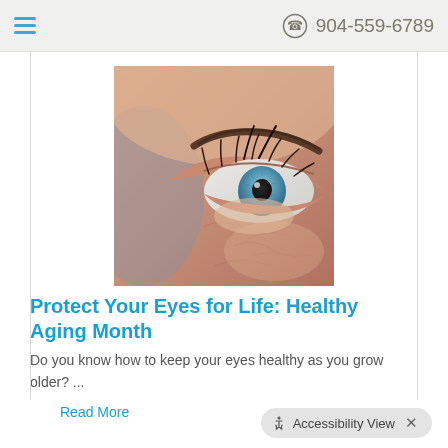904-559-6789
[Figure (photo): Close-up photograph of an elderly person's eye and surrounding wrinkled skin, showing a blue iris]
Protect Your Eyes for Life: Healthy Aging Month
Do you know how to keep your eyes healthy as you grow older? ...
Read More